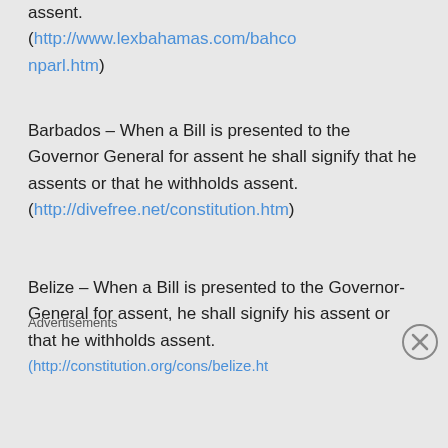assent. (http://www.lexbahamas.com/bahconparl.htm)
Barbados – When a Bill is presented to the Governor General for assent he shall signify that he assents or that he withholds assent. (http://divefree.net/constitution.htm)
Belize – When a Bill is presented to the Governor-General for assent, he shall signify his assent or that he withholds assent. (http://constitution.org/cons/belize.ht...
Advertisements